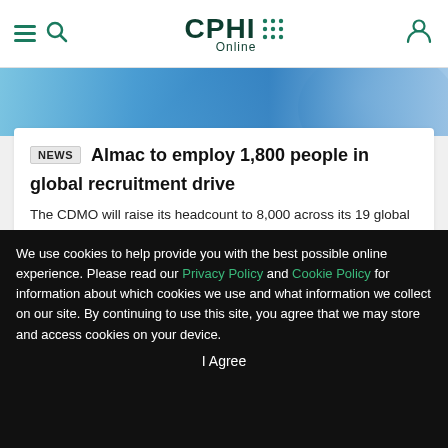CPHI Online
[Figure (photo): Blue globe/pharmaceutical banner image]
NEWS Almac to employ 1,800 people in global recruitment drive
The CDMO will raise its headcount to 8,000 across its 19 global facilities amid increased demand for services
11 Nov 2021
SHOW MORE NEWS →
We use cookies to help provide you with the best possible online experience. Please read our Privacy Policy and Cookie Policy for information about which cookies we use and what information we collect on our site. By continuing to use this site, you agree that we may store and access cookies on your device.
I Agree